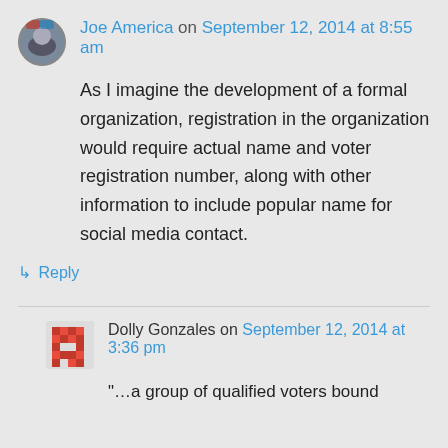Joe America on September 12, 2014 at 8:55 am
As I imagine the development of a formal organization, registration in the organization would require actual name and voter registration number, along with other information to include popular name for social media contact.
↳ Reply
Dolly Gonzales on September 12, 2014 at 3:36 pm
“…a group of qualified voters bound